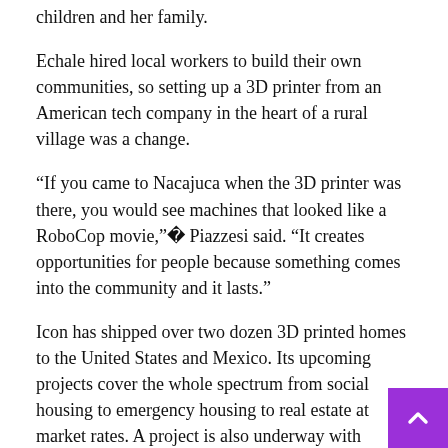...will do whatever she needs to do to save the home of her children and her family.
Echale hired local workers to build their own communities, so setting up a 3D printer from an American tech company in the heart of a rural village was a change.
“If you came to Nacajuca when the 3D printer was there, you would see machines that looked like a RoboCop movie,” Piazzesi said. “It creates opportunities for people because something comes into the community and it lasts.”
Icon has shipped over two dozen 3D printed homes to the United States and Mexico. Its upcoming projects cover the whole spectrum from social housing to emergency housing to real estate at market rates. A project is also underway with NASA to develop space-building systems that it hopes will eventually serve as habitats on both the Moon and Mars.
When Icon was founded, its biggest obstacle was convincing skeptics, said Jason Ballard, one of Icon’s founders and its chief